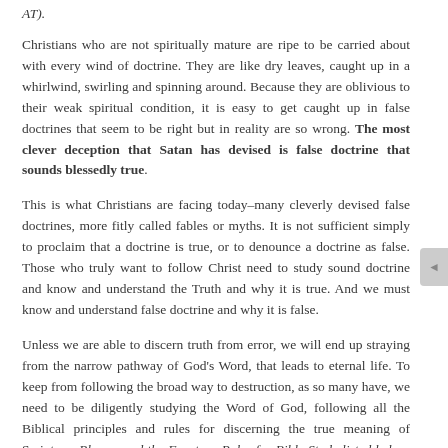AT).
Christians who are not spiritually mature are ripe to be carried about with every wind of doctrine. They are like dry leaves, caught up in a whirlwind, swirling and spinning around. Because they are oblivious to their weak spiritual condition, it is easy to get caught up in false doctrines that seem to be right but in reality are so wrong. The most clever deception that Satan has devised is false doctrine that sounds blessedly true.
This is what Christians are facing today–many cleverly devised false doctrines, more fitly called fables or myths. It is not sufficient simply to proclaim that a doctrine is true, or to denounce a doctrine as false. Those who truly want to follow Christ need to study sound doctrine and know and understand the Truth and why it is true. And we must know and understand false doctrine and why it is false.
Unless we are able to discern truth from error, we will end up straying from the narrow pathway of God's Word, that leads to eternal life. To keep from following the broad way to destruction, as so many have, we need to be diligently studying the Word of God, following all the Biblical principles and rules for discerning the true meaning of Scripture. Please read the Fourteen Rules for Bible Study listed below. These present a step-by-step, systematic method for proper Bible study.